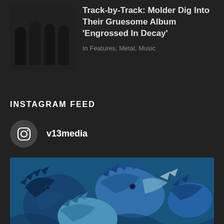[Figure (photo): Band photo of Molder - group of people standing against dark background]
Track-by-Track: Molder Dig Into Their Gruesome Album 'Engrossed In Decay'
In Features, Metal, Music
INSTAGRAM FEED
v13media
[Figure (photo): Instagram photo showing illustrated blue birds artwork]